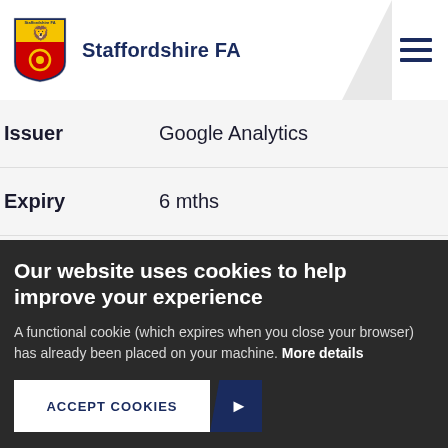Staffordshire FA
| Field | Value |
| --- | --- |
| Issuer | Google Analytics |
| Expiry | 6 mths |
| Purpose | This cookie tracks where users to our sites come from and which search engines they |
Our website uses cookies to help improve your experience
A functional cookie (which expires when you close your browser) has already been placed on your machine. More details
ACCEPT COOKIES